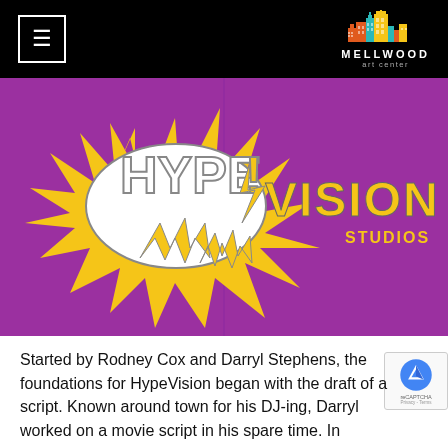Mellwood Art Center
[Figure (photo): Purple wall mural with 'Hype!Vision Studios' logo in bold yellow and white comic-book style lettering with lightning bolt accents]
Started by Rodney Cox and Darryl Stephens, the foundations for HypeVision began with the draft of a script. Known around town for his DJ-ing, Darryl worked on a movie script in his spare time. In discussing his script with a friend, Darryl was referred